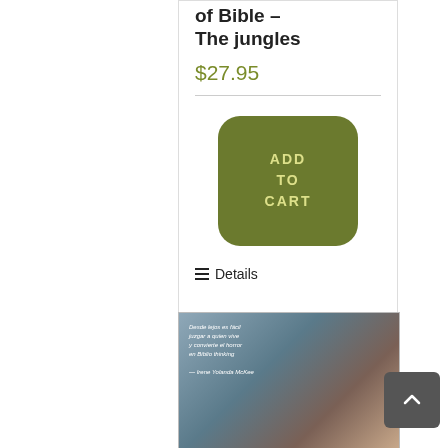of Bible – The jungles
$27.95
[Figure (other): Add to Cart button — rounded rectangle, olive/dark green background, light yellow text reading ADD TO CART]
Details
[Figure (photo): Book cover showing an elderly man with glasses and white hair/beard, with small white italic text overlay, blue-grey background]
[Figure (other): Scroll-to-top button — dark grey rounded square with upward chevron arrow]